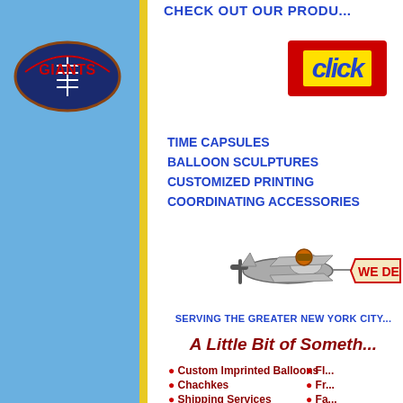[Figure (illustration): NY Giants football team logo on left sidebar]
CHECK OUT OUR PRODU...
[Figure (screenshot): Red click button with yellow italic bold 'click' text]
TIME CAPSULES
BALLOON SCULPTURES
CUSTOMIZED PRINTING
COORDINATING ACCESSORIES
[Figure (illustration): Cartoon pilot in small airplane pulling a tag that reads WE DE...]
SERVING THE GREATER NEW YORK CITY...
A Little Bit of Someth...
Custom Imprinted Balloons
Chachkes
Shipping Services
Postal Services
Greeting Cards
Fl...
Fr...
Fa...
Pa...
Ma...
and...
WHOLESALE BALLOON CAT...